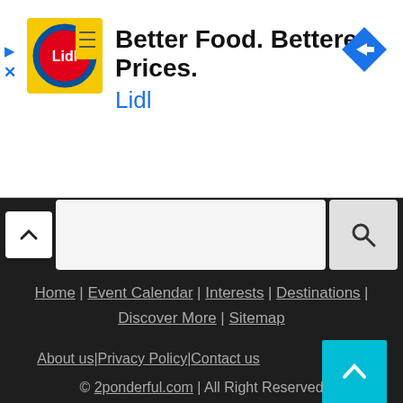[Figure (screenshot): Lidl advertisement banner with logo, headline 'Better Food. Betterer Prices.' and brand name 'Lidl', with a navigation arrow icon on the right]
Home | Event Calendar | Interests | Destinations | Discover More | Sitemap
About us | Privacy Policy | Contact us
© 2ponderful.com | All Right Reserved